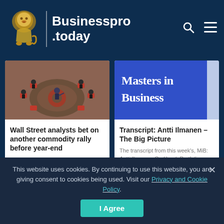Businesspro.today
[Figure (photo): Overhead view of people sitting in red chairs in a circular arrangement on a trading floor, with a person standing at the center pointing.]
Wall Street analysts bet on another commodity rally before year-end
Traders, brokers and clerks on the trading floor of the open outcry pit at the London Metal Exchange in London, U.K., on Monday,...
[Figure (screenshot): Blue background image with white bold text reading 'Masters in Business']
Transcript: Antti Ilmanen – The Big Picture
The transcript from this week's, MiB: Antti Ilmanen, Co-Head, Portfolio Solutions, AQR, is below. You can stream and download our full conversation, including the...
This website uses cookies. By continuing to use this website, you are giving consent to cookies being used. Visit our Privacy and Cookie Policy.